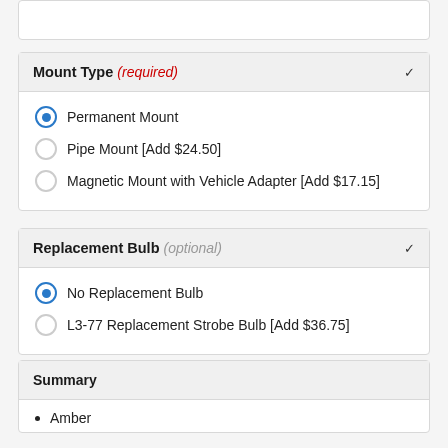Mount Type (required)
Permanent Mount
Pipe Mount [Add $24.50]
Magnetic Mount with Vehicle Adapter [Add $17.15]
Replacement Bulb (optional)
No Replacement Bulb
L3-77 Replacement Strobe Bulb [Add $36.75]
Summary
Amber